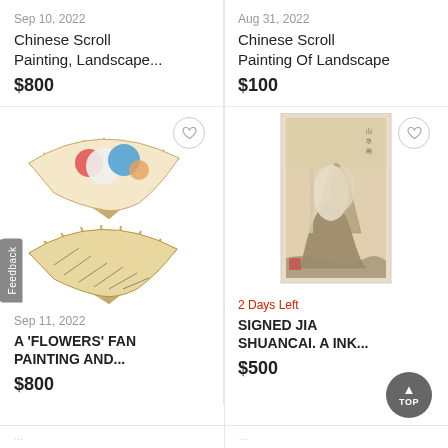Sep 10, 2022
Chinese Scroll Painting, Landscape...
$800
Aug 31, 2022
Chinese Scroll Painting Of Landscape
$100
[Figure (photo): Two decorative hand fans with floral paintings stacked vertically]
[Figure (photo): Chinese scroll painting with ink landscape, horses on rocky mountain]
Sep 11, 2022
A 'FLOWERS' FAN PAINTING AND...
$800
2 Days Left
SIGNED JIA SHUANCAI. A INK...
$500